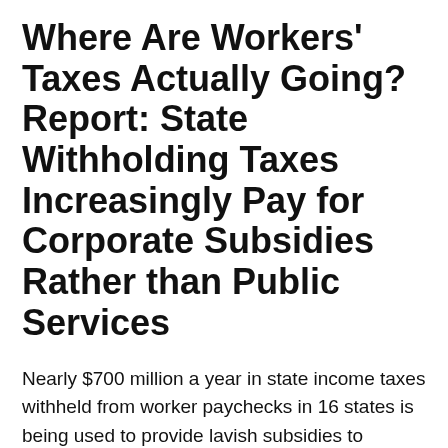Where Are Workers' Taxes Actually Going? Report: State Withholding Taxes Increasingly Pay for Corporate Subsidies Rather than Public Services
Nearly $700 million a year in state income taxes withheld from worker paychecks in 16 states is being used to provide lavish subsidies to corporations rather than paying for vital public services. These diversions have gone to more than 2,700 companies, including major firms such as Sears, Goldman Sachs and General Electric. Few if any of the affected workers are aware, because no state requires they be informed on their pay stubs.